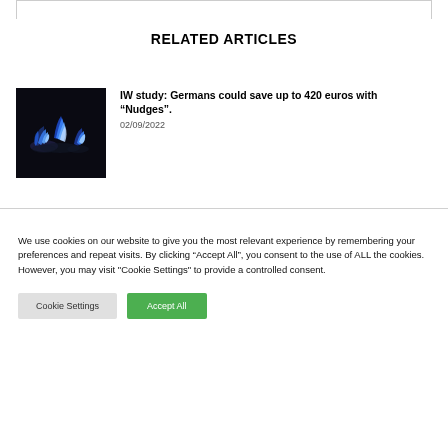RELATED ARTICLES
[Figure (photo): Dark image of blue gas flames on a stovetop burner against a black background]
IW study: Germans could save up to 420 euros with “Nudges”.
02/09/2022
We use cookies on our website to give you the most relevant experience by remembering your preferences and repeat visits. By clicking “Accept All”, you consent to the use of ALL the cookies. However, you may visit "Cookie Settings" to provide a controlled consent.